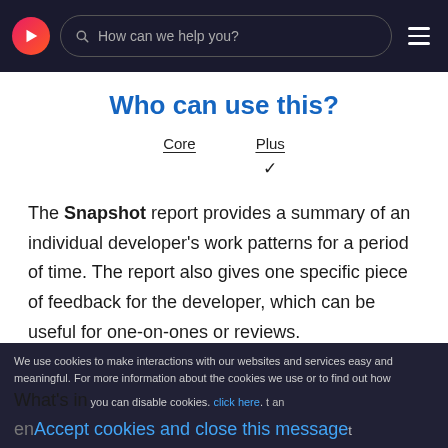How can we help you?
Who can use this?
| Core | Plus |
| --- | --- |
|  | ✓ |
The Snapshot report provides a summary of an individual developer's work patterns for a period of time. The report also gives one specific piece of feedback for the developer, which can be useful for one-on-ones or reviews.
We use cookies to make interactions with our websites and services easy and meaningful. For more information about the cookies we use or to find out how you can disable cookies, click here.
Accept cookies and close this message